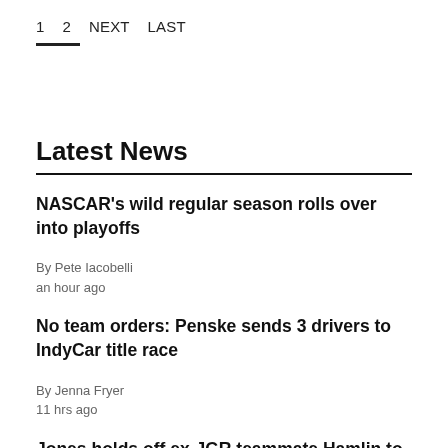1   2   NEXT   LAST
Latest News
NASCAR's wild regular season rolls over into playoffs
By Pete Iacobelli
an hour ago
No team orders: Penske sends 3 drivers to IndyCar title race
By Jenna Fryer
11 hrs ago
Jones holds off ex-JGR teammate Hamlin to win at Darlington